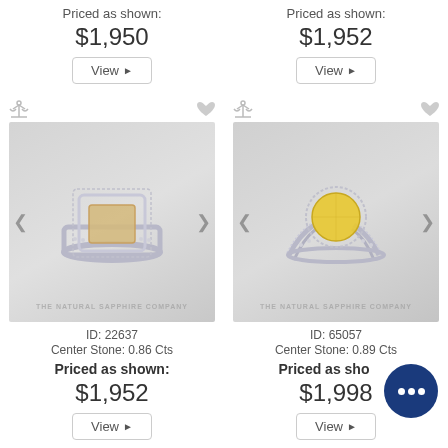Priced as shown:
$1,950
View
Priced as shown:
$1,952
View
[Figure (photo): Engagement ring with square yellow/champagne center stone surrounded by diamond halo, on diamond-pave band. Watermark: THE NATURAL SAPPHIRE COMPANY]
ID: 22637
Center Stone: 0.86 Cts
Priced as shown:
$1,952
View
[Figure (photo): Engagement ring with round yellow center stone on ornate split-shank diamond-pave band. Watermark: THE NATURAL SAPPHIRE COMPANY]
ID: 65057
Center Stone: 0.89 Cts
Priced as shown:
$1,998
View